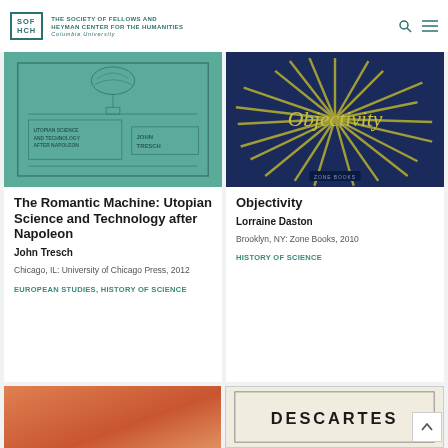SOF HCH | THE SOCIETY OF FELLOWS AND HEYMAN CENTER FOR THE HUMANITIES | COLUMBIA UNIVERSITY
[Figure (photo): Book cover of The Romantic Machine: Utopian Science and Technology after Napoleon by John Tresch — teal/green cover with decorative border and balloon illustration]
The Romantic Machine: Utopian Science and Technology after Napoleon
John Tresch
Chicago, IL: University of Chicago Press, 2012
EUROPEAN STUDIES, HISTORY OF SCIENCE
[Figure (photo): Book cover of Objectivity by Lorraine Daston — dark blue cover with yellow/green burst explosion pattern and italic title text]
Objectivity
Lorraine Daston
Brooklyn, NY: Zone Books, 2010
HISTORY OF SCIENCE
[Figure (photo): Partially visible orange/salmon colored book cover]
[Figure (photo): Partially visible book cover with DESCARTES text visible]